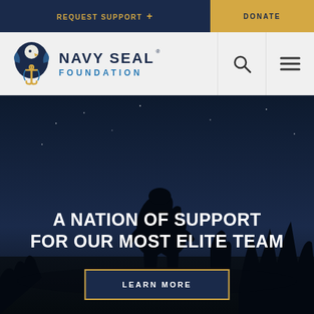REQUEST SUPPORT + | DONATE
[Figure (logo): Navy SEAL Foundation logo with eagle and anchor emblem, text reading NAVY SEAL FOUNDATION]
A NATION OF SUPPORT FOR OUR MOST ELITE TEAM
LEARN MORE